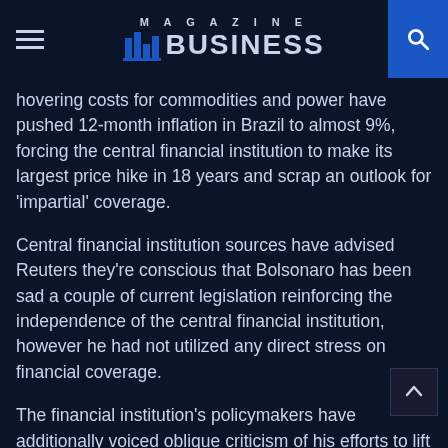MAGAZINE BUSINESS
hovering costs for commodities and power have pushed 12-month inflation in Brazil to almost 9%, forcing the central financial institution to make its largest price hike in 18 years and scrap an outlook for 'impartial' coverage.
Central financial institution sources have advised Reuters they're conscious that Bolsonaro has been sad a couple of current legislation reinforcing the independence of the central financial institution, however he had not utilized any direct stress on financial coverage.
The financial institution's policymakers have additionally voiced oblique criticism of his efforts to lift public spending to win votes.
Register now for FREE limitless entry to Reuters.com